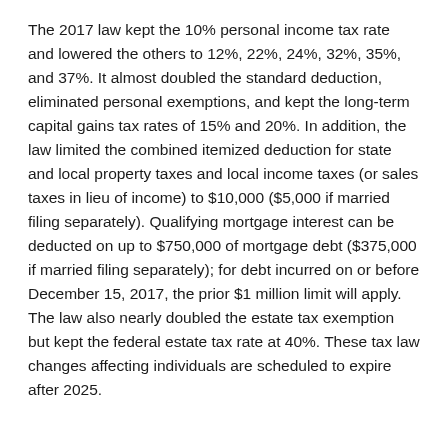The 2017 law kept the 10% personal income tax rate and lowered the others to 12%, 22%, 24%, 32%, 35%, and 37%. It almost doubled the standard deduction, eliminated personal exemptions, and kept the long-term capital gains tax rates of 15% and 20%. In addition, the law limited the combined itemized deduction for state and local property taxes and local income taxes (or sales taxes in lieu of income) to $10,000 ($5,000 if married filing separately). Qualifying mortgage interest can be deducted on up to $750,000 of mortgage debt ($375,000 if married filing separately); for debt incurred on or before December 15, 2017, the prior $1 million limit will apply. The law also nearly doubled the estate tax exemption but kept the federal estate tax rate at 40%. These tax law changes affecting individuals are scheduled to expire after 2025.